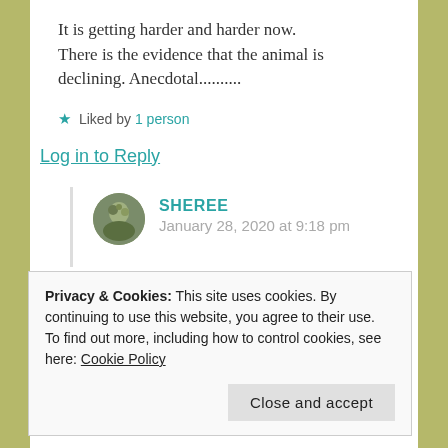It is getting harder and harder now. There is the evidence that the animal is declining. Anecdotal..........
★ Liked by 1 person
Log in to Reply
SHEREE
January 28, 2020 at 9:18 pm
Privacy & Cookies: This site uses cookies. By continuing to use this website, you agree to their use.
To find out more, including how to control cookies, see here: Cookie Policy
Close and accept